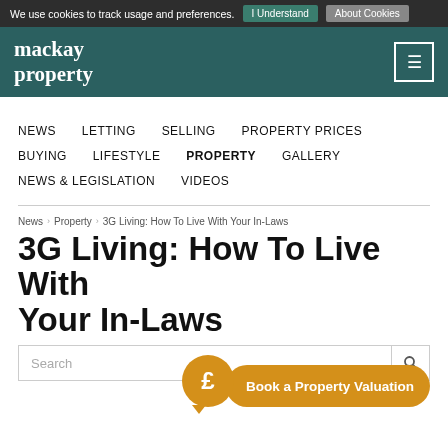We use cookies to track usage and preferences. | I Understand | About Cookies
[Figure (logo): mackay property logo in white serif font on teal/dark green background, with hamburger menu icon top right]
NEWS  LETTING  SELLING  PROPERTY PRICES
BUYING  LIFESTYLE  PROPERTY  GALLERY
NEWS & LEGISLATION  VIDEOS
News > Property > 3G Living: How To Live With Your In-Laws
3G Living: How To Live With Your In-Laws
[Figure (infographic): Search bar with 'Search' placeholder and search icon. Below: orange pound sign speech bubble with 'Book a Property Valuation' orange button.]